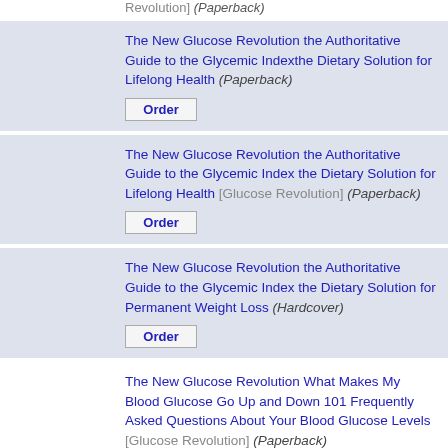Revolution] (Paperback)
The New Glucose Revolution the Authoritative Guide to the Glycemic Indexthe Dietary Solution for Lifelong Health (Paperback)
The New Glucose Revolution the Authoritative Guide to the Glycemic Index the Dietary Solution for Lifelong Health [Glucose Revolution] (Paperback)
The New Glucose Revolution the Authoritative Guide to the Glycemic Index the Dietary Solution for Permanent Weight Loss (Hardcover)
The New Glucose Revolution What Makes My Blood Glucose Go Up and Down 101 Frequently Asked Questions About Your Blood Glucose Levels [Glucose Revolution] (Paperback)
Nutrisystem the Low Gi Cookbook (Paperback)